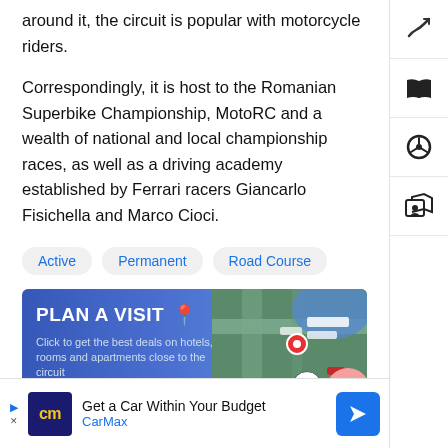around it, the circuit is popular with motorcycle riders.
Correspondingly, it is host to the Romanian Superbike Championship, MotoRC and a wealth of national and local championship races, as well as a driving academy established by Ferrari racers Giancarlo Fisichella and Marco Cioci.
Active
Permanent
Road Course
[Figure (other): Plan a Visit banner advertisement with map imagery]
CIRCUIT HISTORY
[Figure (other): CarMax advertisement: Get a Car Within Your Budget]